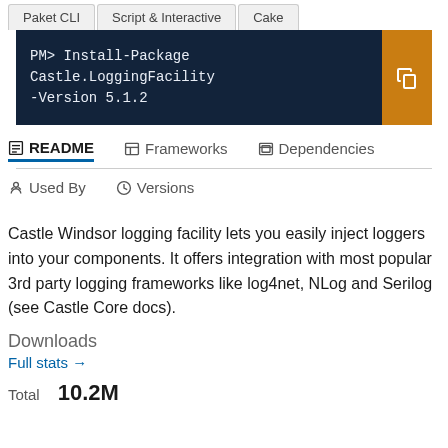Paket CLI	Script & Interactive	Cake
PM> Install-Package Castle.LoggingFacility -Version 5.1.2
README	Frameworks	Dependencies	Used By	Versions
Castle Windsor logging facility lets you easily inject loggers into your components. It offers integration with most popular 3rd party logging frameworks like log4net, NLog and Serilog (see Castle Core docs).
Downloads
Full stats →
Total  10.2M